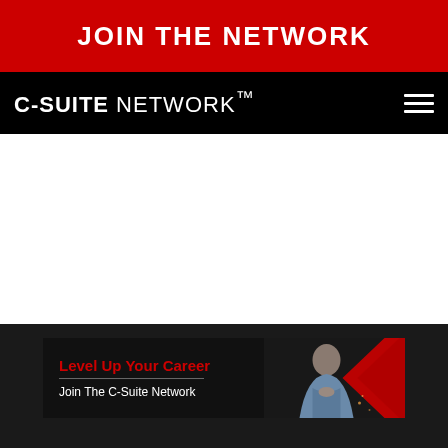JOIN THE NETWORK
C-SUITE NETWORK ™
[Figure (screenshot): White blank content area]
[Figure (illustration): Advertisement banner: Level Up Your Career - Join The C-Suite Network, with woman's photo and red chevron graphic]
C-SUITE NETWORK ™